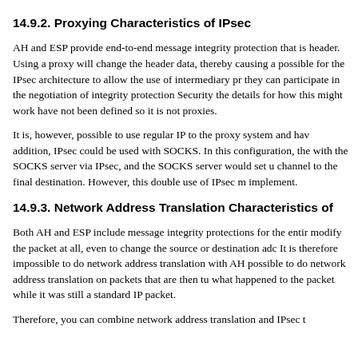14.9.2. Proxying Characteristics of IPsec
AH and ESP provide end-to-end message integrity protection that is header. Using a proxy will change the header data, thereby causing a possible for the IPsec architecture to allow the use of intermediary pr they can participate in the negotiation of integrity protection Security the details for how this might work have not been defined so it is not proxies.
It is, however, possible to use regular IP to the proxy system and hav addition, IPsec could be used with SOCKS. In this configuration, the with the SOCKS server via IPsec, and the SOCKS server would set u channel to the final destination. However, this double use of IPsec m implement.
14.9.3. Network Address Translation Characteristics of
Both AH and ESP include message integrity protections for the entir modify the packet at all, even to change the source or destination adc It is therefore impossible to do network address translation with AH possible to do network address translation on packets that are then tu what happened to the packet while it was still a standard IP packet.
Therefore, you can combine network address translation and IPsec t